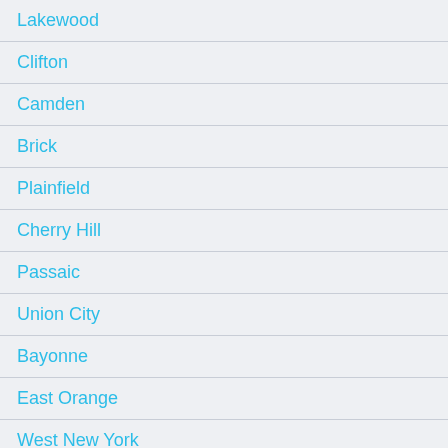Lakewood
Clifton
Camden
Brick
Plainfield
Cherry Hill
Passaic
Union City
Bayonne
East Orange
West New York